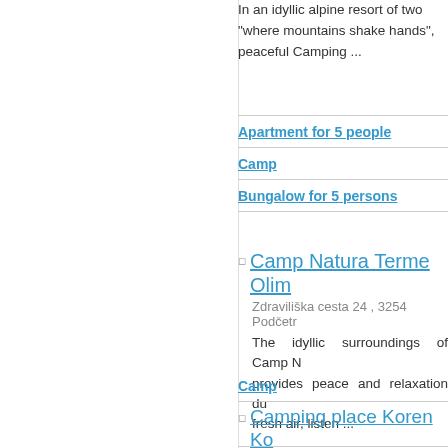In an idyllic alpine resort of two "where mountains shake hands", peaceful Camping ...
Apartment for 5 people
Camp
Bungalow for 5 persons
Camp Natura Terme Olim
Zdraviliška cesta 24 , 3254 Podčetr
The idyllic surroundings of Camp N provides peace and relaxation du fresh air, listen ...
Camp
Camping place Koren Ko
Ladra 1b, 5222 Kobarid (Reaching us
Alan Rogers rewarded us also in 2 second in the category Active Ho Association has ...